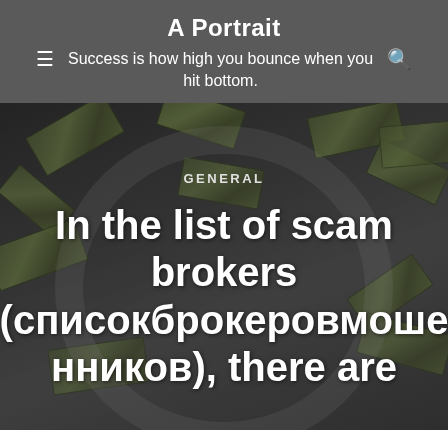A Portrait
Success is how high you bounce when you hit bottom.
[Figure (photo): Flying US dollar bills scattered in the air against a dark background, with a smartphone and calculator visible at the bottom.]
GENERAL
In the list of scam brokers (списокброкеровмошенников), there are